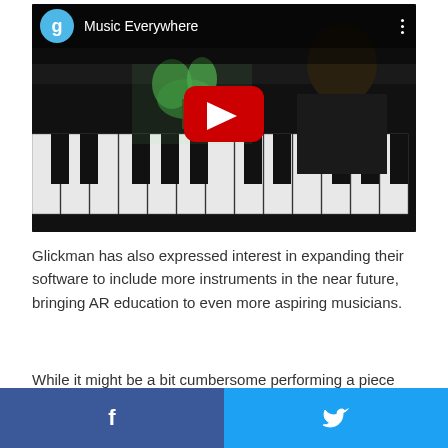[Figure (screenshot): YouTube video thumbnail showing a person playing a piano keyboard with green AR plant overlays visible. Video title is 'Music Everywhere'. Shows a Google/YouTube channel avatar with letter 'g', video title text, and a large red YouTube play button in the center. Three-dot menu icon in top right.]
Glickman has also expressed interest in expanding their software to include more instruments in the near future, bringing AR education to even more aspiring musicians.
While it might be a bit cumbersome performing a piece while simultaneously holding an iPhone, the app could still
f  [Twitter bird icon]